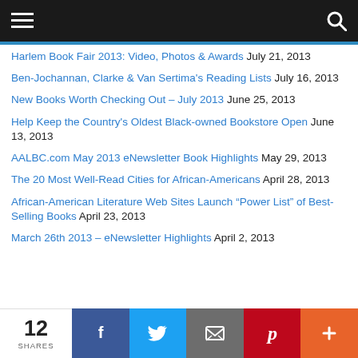Navigation bar with menu and search icons
Harlem Book Fair 2013: Video, Photos & Awards  July 21, 2013
Ben-Jochannan, Clarke & Van Sertima's Reading Lists  July 16, 2013
New Books Worth Checking Out – July 2013  June 25, 2013
Help Keep the Country's Oldest Black-owned Bookstore Open  June 13, 2013
AALBC.com May 2013 eNewsletter Book Highlights  May 29, 2013
The 20 Most Well-Read Cities for African-Americans  April 28, 2013
African-American Literature Web Sites Launch “Power List” of Best-Selling Books  April 23, 2013
March 26th 2013 – eNewsletter Highlights  April 2, 2013
12 SHARES | Facebook | Twitter | Email | Pinterest | More